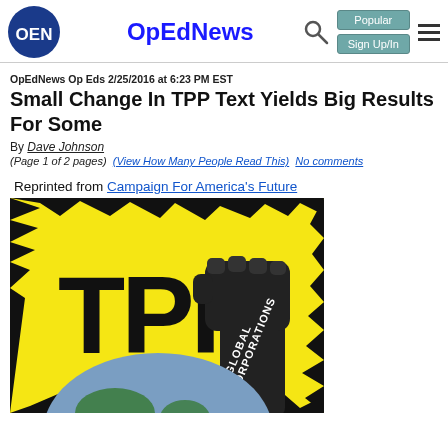OpEdNews
OpEdNews Op Eds 2/25/2016 at 6:23 PM EST
Small Change In TPP Text Yields Big Results For Some
By Dave Johnson
(Page 1 of 2 pages) (View How Many People Read This) No comments
Reprinted from Campaign For America's Future
[Figure (illustration): Illustration of a fist labeled 'GLOBAL CORPORATIONS' punching down onto a globe, with 'TPP' text on yellow background with jagged black border]